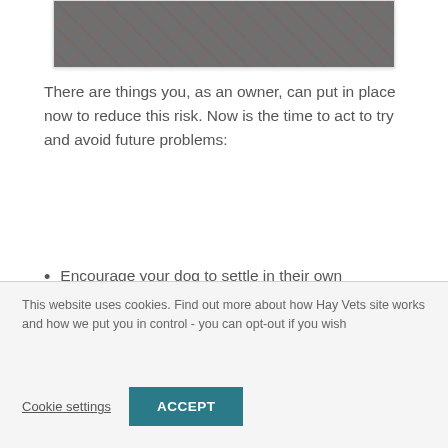[Figure (photo): Partial view of a gray plaid fabric or clothing item]
There are things you, as an owner, can put in place now to reduce this risk. Now is the time to act to try and avoid future problems:
Encourage your dog to settle in their own
This website uses cookies. Find out more about how Hay Vets site works and how we put you in control - you can opt-out if you wish
Cookie settings
ACCEPT